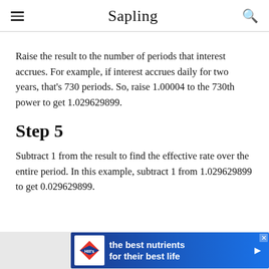Sapling
Raise the result to the number of periods that interest accrues. For example, if interest accrues daily for two years, that's 730 periods. So, raise 1.00004 to the 730th power to get 1.029629899.
Step 5
Subtract 1 from the result to find the effective rate over the entire period. In this example, subtract 1 from 1.029629899 to get 0.029629899.
[Figure (other): Advertisement banner: Hill's pet nutrition ad reading 'the best nutrients for their best life' with Hill's logo on blue background]